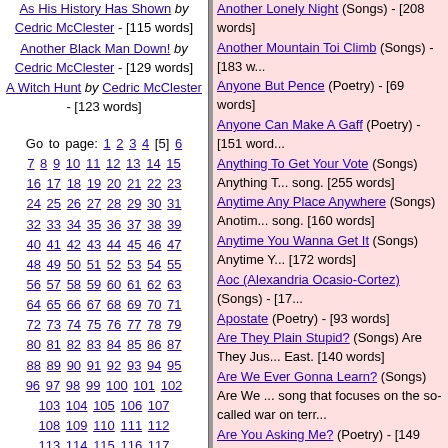As His History Has Shown by Cedric McClester - [115 words]
Another Black Man Down! by Cedric McClester - [129 words]
A Witch Hunt by Cedric McClester - [123 words]
Go to page: 1 2 3 4 [5] 6 7 8 9 10 11 12 13 14 15 16 17 18 19 20 21 22 23 24 25 26 27 28 29 30 31 32 33 34 35 36 37 38 39 40 41 42 43 44 45 46 47 48 49 50 51 52 53 54 55 56 57 58 59 60 61 62 63 64 65 66 67 68 69 70 71 72 73 74 75 76 77 78 79 80 81 82 83 84 85 86 87 88 89 90 91 92 93 94 95 96 97 98 99 100 101 102 103 104 105 106 107 108 109 110 111 112 113 114 115 116 117 118 119 120 121 122 123 124 125 126 127 128 129 130 131 132 133 134 135 136 137
Another Lonely Night (Songs) - [208 words]
Another Mountain Toi Climb (Songs) - [183 words]
Anyone But Pence (Poetry) - [69 words]
Anyone Can Make A Gaff (Poetry) - [151 words]
Anything To Get Your Vote (Songs) Anything To Get Your Vote is a song. [255 words]
Anytime Any Place Anywhere (Songs) Anytime Any Place Anywhere is a song. [160 words]
Anytime You Wanna Get It (Songs) Anytime You Wanna Get It is a song. [172 words]
Aoc (Alexandria Ocasio-Cortez) (Songs) - [17 words]
Apostate (Poetry) - [93 words]
Are They Plain Stupid? (Songs) Are They Just East. [140 words]
Are We Ever Gonna Learn? (Songs) Are We ... song that focuses on the so-called war on terror.
Are You Asking Me? (Poetry) - [149 words]
Are You Aware? (Songs) - [110 words]
Are You Gonna Miss Me? (Songs) - [211 words]
Are You Listening To Me? (Songs) Are You Li... Bob Dylan. [258 words]
Are You Still Mine? (Songs) This song was written with a comeback in mind. It should have an updated...
Are You Woke? (Songs) - [101 words]
As A General Rule (Songs) - [211 words]
As Darkness Draws Ever Near (Poetry) - [71 words]